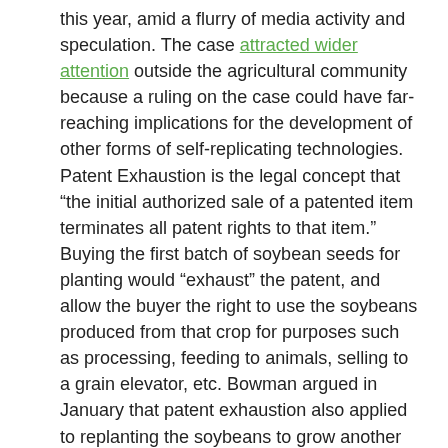this year, amid a flurry of media activity and speculation. The case attracted wider attention outside the agricultural community because a ruling on the case could have far-reaching implications for the development of other forms of self-replicating technologies. Patent Exhaustion is the legal concept that "the initial authorized sale of a patented item terminates all patent rights to that item." Buying the first batch of soybean seeds for planting would "exhaust" the patent, and allow the buyer the right to use the soybeans produced from that crop for purposes such as processing, feeding to animals, selling to a grain elevator, etc. Bowman argued in January that patent exhaustion also applied to replanting the soybeans to grow another crop, hinging on the use of the term